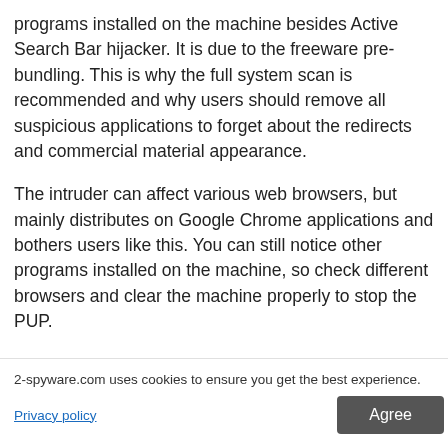programs installed on the machine besides Active Search Bar hijacker. It is due to the freeware pre-bundling. This is why the full system scan is recommended and why users should remove all suspicious applications to forget about the redirects and commercial material appearance.
The intruder can affect various web browsers, but mainly distributes on Google Chrome applications and bothers users like this. You can still notice other programs installed on the machine, so check different browsers and clear the machine properly to stop the PUP.
You may remove virus damage with a help of Reimage. SpyHunter 5 and Malwarebytes are recommended to detect with all their files
2-spyware.com uses cookies to ensure you get the best experience.
Privacy policy
Agree